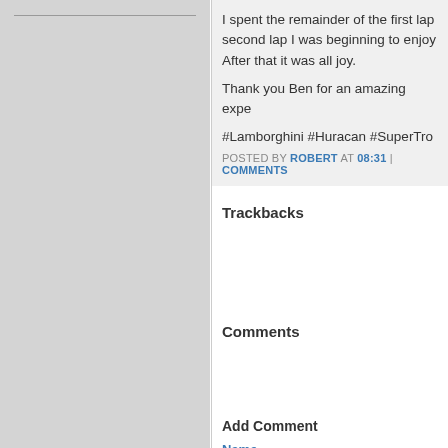I spent the remainder of the first lap second lap I was beginning to enjoy After that it was all joy.

Thank you Ben for an amazing expe

#Lamborghini #Huracan #SuperTro
POSTED BY ROBERT AT 08:31 | COMMENTS
Trackbacks
Comments
Add Comment
Name
Email
Homepage
In reply to
Comment